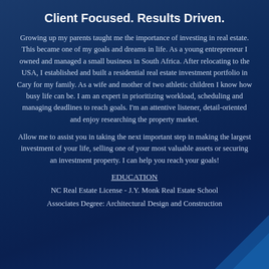Client Focused. Results Driven.
Growing up my parents taught me the importance of investing in real estate. This became one of my goals and dreams in life. As a young entrepreneur I owned and managed a small business in South Africa. After relocating to the USA, I established and built a residential real estate investment portfolio in Cary for my family. As a wife and mother of two athletic children I know how busy life can be. I am an expert in prioritizing workload, scheduling and managing deadlines to reach goals. I’m an attentive listener, detail-oriented and enjoy researching the property market.
Allow me to assist you in taking the next important step in making the largest investment of your life, selling one of your most valuable assets or securing an investment property. I can help you reach your goals!
EDUCATION
NC Real Estate License - J.Y. Monk Real Estate School
Associates Degree: Architectural Design and Construction